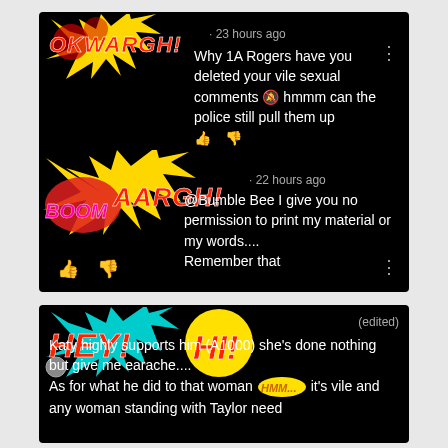[Figure (screenshot): Screenshot of YouTube/social media comment thread on black background with comic-style sticker overlays. First comment (23 hours ago): 'Why 1A Rogers have you deleted your vile sexual comments hmmm can the police still pull them up'. Second comment (22 hours ago): '@Bumble Bee I give you no permission to print my material or my words.... Remember that'. Comic stickers: OKWARGH!, BOOMAARGH!]
[Figure (screenshot): Screenshot of another comment on black background with HEY! HI! comic sticker overlay and (edited) label. Text: 'Katy highly supports him (A1000) she's done nothing but give me earache.... As for what he did to that woman [HMM sticker] it's vile and any woman standing with Taylor need']